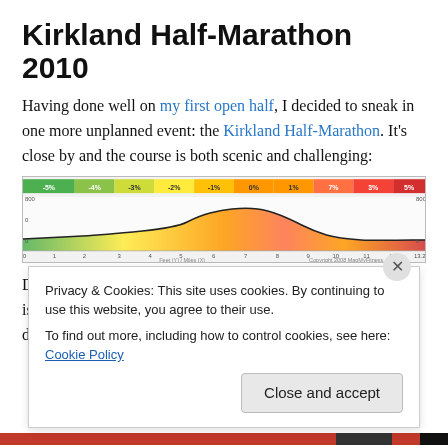Kirkland Half-Marathon 2010
Having done well on my first open half, I decided to sneak in one more unplanned event: the Kirkland Half-Marathon. It's close by and the course is both scenic and challenging:
[Figure (continuous-plot): Elevation profile chart for Kirkland Half-Marathon course showing color-coded grade sections (green, yellow, orange, red) with elevation in feet on Y-axis and miles on X-axis from 0 to 13.2 miles. Copyright 2008 MapMyFitness Inc.]
Don't be fooled by the scale of the elevation chart. The uphill is quite significant; and your legs take a beating on the downhill sections because it's done with poor quality...
Privacy & Cookies: This site uses cookies. By continuing to use this website, you agree to their use.
To find out more, including how to control cookies, see here: Cookie Policy
Close and accept